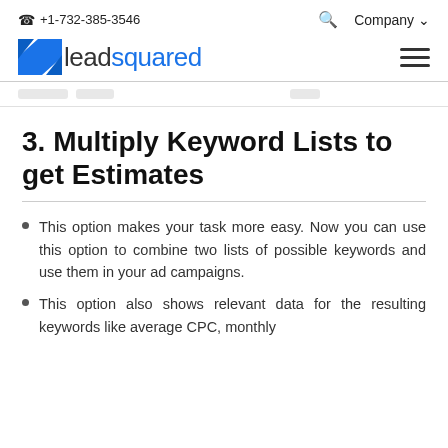☎ +1-732-385-3546  🔍  Company ∨
[Figure (logo): LeadSquared logo with blue square icon and company name in gray and blue text]
3. Multiply Keyword Lists to get Estimates
This option makes your task more easy. Now you can use this option to combine two lists of possible keywords and use them in your ad campaigns.
This option also shows relevant data for the resulting keywords like average CPC, monthly